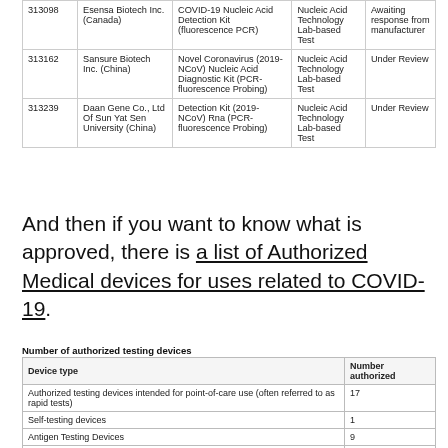|  | Manufacturer | Device Name | Type | Status |
| --- | --- | --- | --- | --- |
| 313098 | Esensa Biotech Inc. (Canada) | COVID-19 Nucleic Acid Detection Kit (fluorescence PCR) | Nucleic Acid Technology Lab-based Test | Awaiting response from manufacturer |
| 313162 | Sansure Biotech Inc. (China) | Novel Coronavirus (2019-NCoV) Nucleic Acid Diagnostic Kit (PCR-fluorescence Probing) | Nucleic Acid Technology Lab-based Test | Under Review |
| 313239 | Daan Gene Co., Ltd Of Sun Yat Sen University (China) | Detection Kit (2019-NCoV) Rna (PCR-fluorescence Probing) | Nucleic Acid Technology Lab-based Test | Under Review |
And then if you want to know what is approved, there is a list of Authorized Medical devices for uses related to COVID-19.
Number of authorized testing devices
| Device type | Number authorized |
| --- | --- |
| Authorized testing devices intended for point-of-care use (often referred to as rapid tests) | 17 |
| Self-testing devices | 1 |
| Antigen Testing Devices | 9 |
| Nucleic Acid Testing Devices (often referred to as PCR) | 40 |
| Serological Testing Devices | 20 |
| Total number of authorized COVID-19 testing devices | 69 |